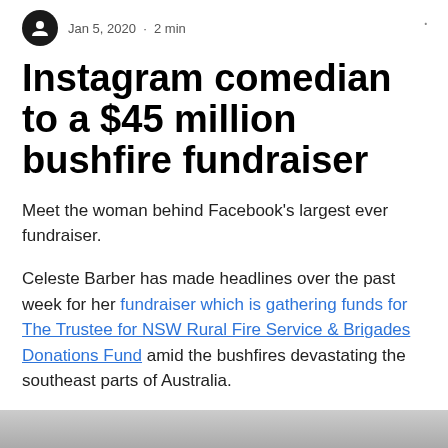Jan 5, 2020 · 2 min
Instagram comedian to a $45 million bushfire fundraiser
Meet the woman behind Facebook's largest ever fundraiser.
Celeste Barber has made headlines over the past week for her fundraiser which is gathering funds for The Trustee for NSW Rural Fire Service & Brigades Donations Fund amid the bushfires devastating the southeast parts of Australia.